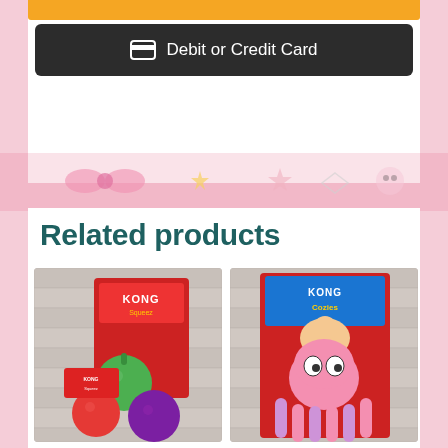[Figure (screenshot): Yellow button at top (payment option)]
[Figure (screenshot): Dark button with credit card icon labeled 'Debit or Credit Card']
[Figure (illustration): Decorative pink patterned background band with kawaii-style icons: paw prints, stars, bows, clouds]
Related products
[Figure (photo): KONG Squeeez dog toy set — green, red, and purple squeezable balls in packaging against brick wall background]
[Figure (photo): KONG Cozies pink octopus plush dog toy in packaging against brick wall background]